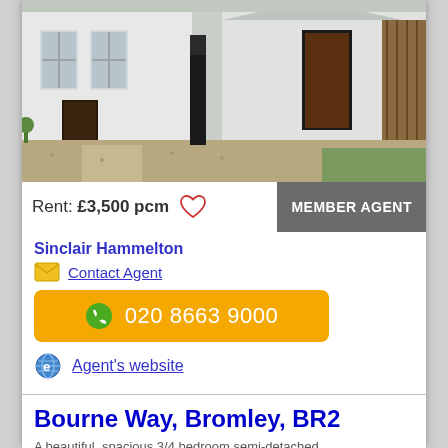[Figure (photo): Exterior photo of a white painted semi-detached house with a dark framed front door and gravel front garden]
Rent: £3,500 pcm
MEMBER AGENT
Sinclair Hammelton
Contact Agent
020 8663 9000
Agent's website
Bourne Way, Bromley, BR2
A beautiful, spacious 3/4 bedroom semi-detached